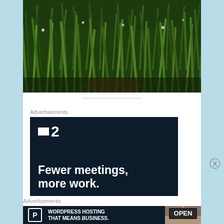[Figure (photo): Photograph of tall green grass and wildflowers in a field, viewed from close to ground level.]
Advertisements
[Figure (screenshot): Dark navy advertisement for a product showing a logo with a white square and the number 2, with the text 'Fewer meetings, more work.' in white bold font.]
Advertisements
[Figure (screenshot): Dark navy banner advertisement for WordPress Hosting with a P icon and the text 'WORDPRESS HOSTING THAT MEANS BUSINESS.' alongside a photo of an OPEN sign.]